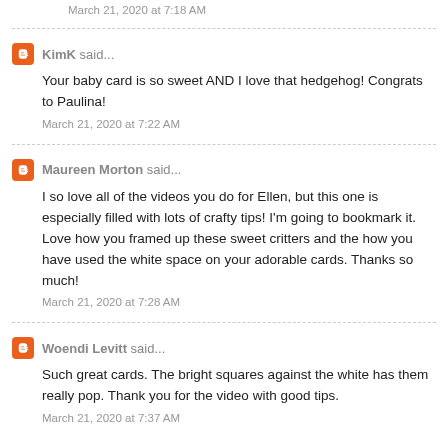March 21, 2020 at 7:18 AM
KimK said...
Your baby card is so sweet AND I love that hedgehog! Congrats to Paulina!
March 21, 2020 at 7:22 AM
Maureen Morton said...
I so love all of the videos you do for Ellen, but this one is especially filled with lots of crafty tips! I'm going to bookmark it. Love how you framed up these sweet critters and the how you have used the white space on your adorable cards. Thanks so much!
March 21, 2020 at 7:28 AM
Woendi Levitt said...
Such great cards. The bright squares against the white has them really pop. Thank you for the video with good tips.
March 21, 2020 at 7:37 AM